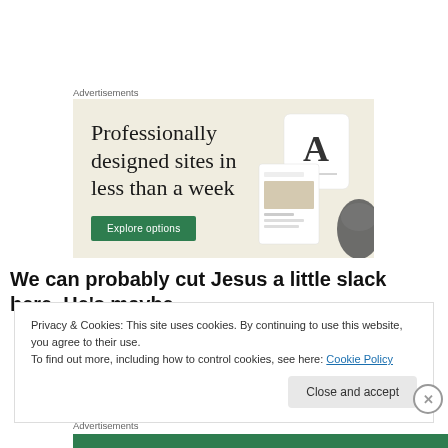Advertisements
[Figure (illustration): Advertisement banner with beige background showing text 'Professionally designed sites in less than a week' with a green 'Explore options' button and decorative website mockup images on the right side.]
We can probably cut Jesus a little slack here. He's maybe
Privacy & Cookies: This site uses cookies. By continuing to use this website, you agree to their use.
To find out more, including how to control cookies, see here: Cookie Policy
Close and accept
Advertisements